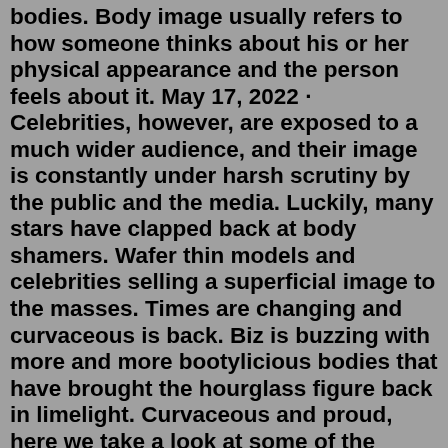bodies. Body image usually refers to how someone thinks about his or her physical appearance and the person feels about it. May 17, 2022 · Celebrities, however, are exposed to a much wider audience, and their image is constantly under harsh scrutiny by the public and the media. Luckily, many stars have clapped back at body shamers. Wafer thin models and celebrities selling a superficial image to the masses. Times are changing and curvaceous is back. Biz is buzzing with more and more bootylicious bodies that have brought the hourglass figure back in limelight. Curvaceous and proud, here we take a look at some of the hottest...Potentially, everyone on social media can fall prey to the cycle of negative body imaging which is an issue. In a survey consisting of 227 female university students conducted by Macquarie university, in Sydney, Australia, many females admitted they view their appearance in a negative way when comparing themselves with celebrities and even their peers, while scrolling through Facebook. Body image issues can lead to a